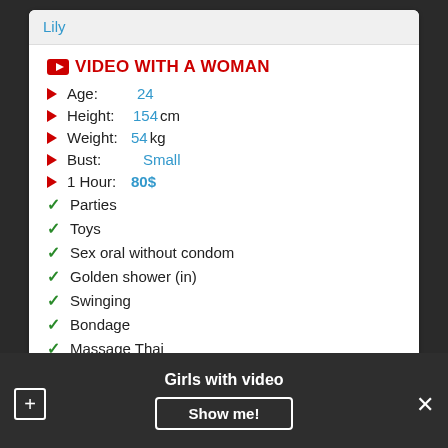Lily
VIDEO WITH A WOMAN
Age: 24
Height: 154 cm
Weight: 54 kg
Bust: Small
1 Hour: 80$
Parties
Toys
Sex oral without condom
Golden shower (in)
Swinging
Bondage
Massage Thai
Send a massage
Girls with video
Show me!